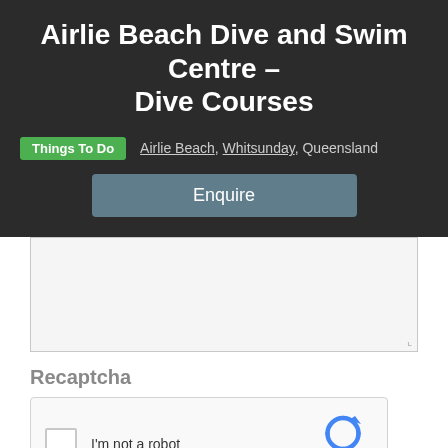Airlie Beach Dive and Swim Centre – Dive Courses
Things To Do   Airlie Beach, Whitsunday, Queensland
Enquire
Recaptcha
[Figure (screenshot): reCAPTCHA widget with checkbox labeled 'I'm not a robot' and reCAPTCHA logo with Privacy and Terms links]